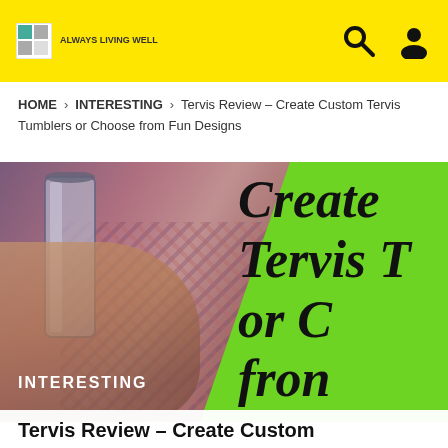Website header with yellow background, logo, search and user icons
HOME > INTERESTING > Tervis Review – Create Custom Tervis Tumblers or Choose from Fun Designs
[Figure (photo): Hero image showing a woman holding a tumbler cup, overlaid with a green diagonal graphic and large italic text reading 'Create Tervis T... or C... from...' partially cropped on the right side]
INTERESTING
Tervis Review – Create Custom